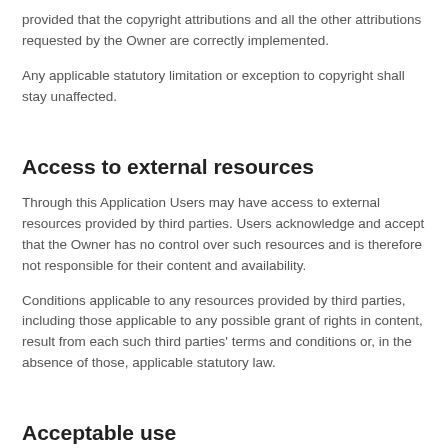provided that the copyright attributions and all the other attributions requested by the Owner are correctly implemented.
Any applicable statutory limitation or exception to copyright shall stay unaffected.
Access to external resources
Through this Application Users may have access to external resources provided by third parties. Users acknowledge and accept that the Owner has no control over such resources and is therefore not responsible for their content and availability.
Conditions applicable to any resources provided by third parties, including those applicable to any possible grant of rights in content, result from each such third parties' terms and conditions or, in the absence of those, applicable statutory law.
Acceptable use